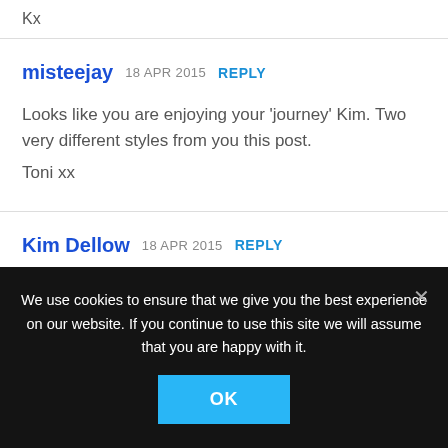Kx
misteejay  18 APR 2015  REPLY
Looks like you are enjoying your 'journey' Kim. Two very different styles from you this post.
Toni xx
Kim Dellow  18 APR 2015  REPLY
We use cookies to ensure that we give you the best experience on our website. If you continue to use this site we will assume that you are happy with it.